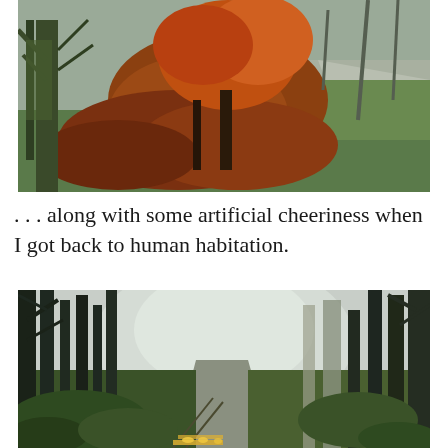[Figure (photo): Outdoor autumn forest scene with a dirt path on the right side, reddish-orange ferns and a tree with rust-colored leaves in the center, green grass and bare trees in a misty background]
. . . along with some artificial cheeriness when I got back to human habitation.
[Figure (photo): Misty forest path with tall dark trees on either side, a wooden fence with glowing lights along a narrow trail receding into foggy distance]